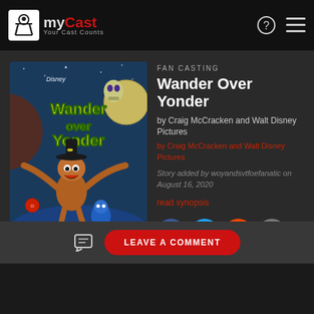myCast — Your Cast Counts
[Figure (illustration): Wander Over Yonder animated show poster — Disney branded artwork showing the character Wander with arms wide open, colorful animated style on alien planet backdrop]
FAN CASTING
Wander Over Yonder
by Craig McCracken and Walt Disney Pictures
by Craig McCracken and Walt Disney Pictures
Story added by woyandsvtfoefanatic on August 16, 2020
read synopsis
LEAVE A COMMENT